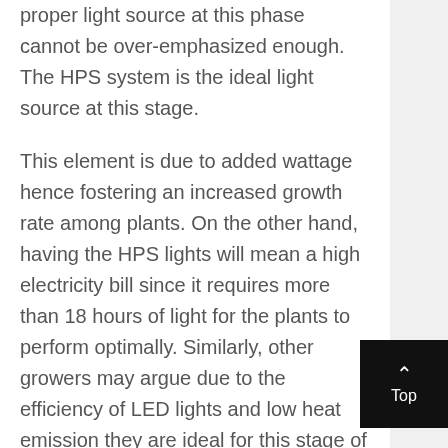proper light source at this phase cannot be over-emphasized enough. The HPS system is the ideal light source at this stage.
This element is due to added wattage hence fostering an increased growth rate among plants. On the other hand, having the HPS lights will mean a high electricity bill since it requires more than 18 hours of light for the plants to perform optimally. Similarly, other growers may argue due to the efficiency of LED lights and low heat emission they are ideal for this stage of